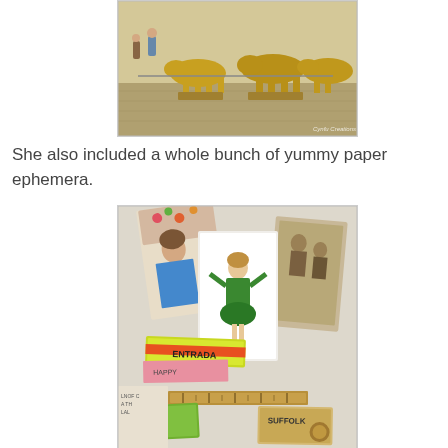[Figure (photo): Photo of animal sculptures (cattle/buffalo) displayed in a museum or exhibition hall, with people visible in the background. A watermark reads 'Cynfu Creations' in the bottom right corner.]
She also included a whole bunch of yummy paper ephemera.
[Figure (photo): Photo of vintage paper ephemera collection including old portrait photographs, vintage tickets labeled 'ENTRADA', colorful paper items, an old ruler, and various antique paper collectibles spread out on a surface.]